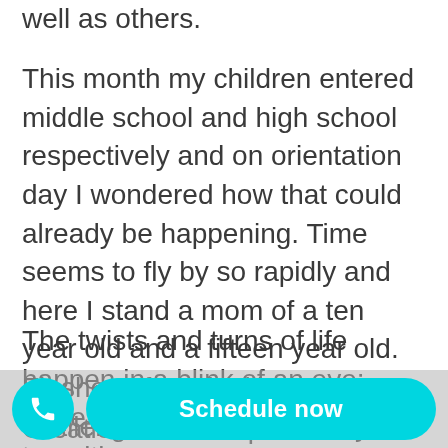well as others.
This month my children entered middle school and high school respectively and on orientation day I wondered how that could already be happening. Time seems to fly by so rapidly and here I stand a mom of a ten year old and a fifteen year old. Flashes of my fertility challenges raced across my mind, and the thoughts of never being a mom echoed too.
The twists and turns of life happen in a blink of an eye; there are heartbreaking transitions a… om…
Creation contains phases. The dip or gulp, as I